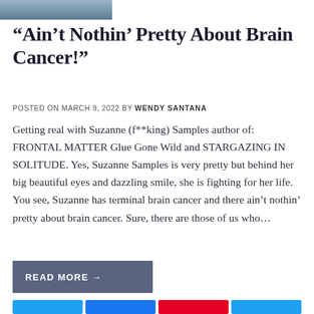[Figure (photo): Partial photo strip at top of page, showing a cropped image of a person]
“Ain’t Nothin’ Pretty About Brain Cancer!”
POSTED ON MARCH 9, 2022 BY WENDY SANTANA
Getting real with Suzanne (f**king) Samples author of: FRONTAL MATTER Glue Gone Wild and STARGAZING IN SOLITUDE. Yes, Suzanne Samples is very pretty but behind her big beautiful eyes and dazzling smile, she is fighting for her life. You see, Suzanne has terminal brain cancer and there ain’t nothin’ pretty about brain cancer. Sure, there are those of us who…
READ MORE →